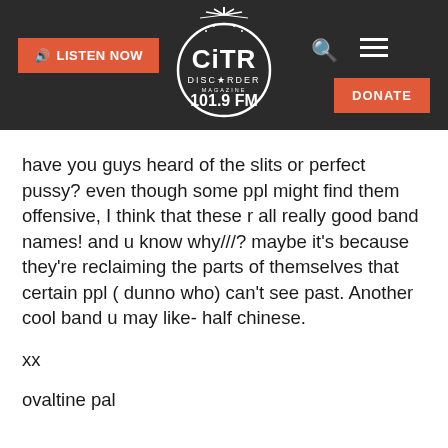[Figure (logo): CiTR Discorder 101.9 FM radio station logo — circular badge with radiating lines at top, white on dark background]
have you guys heard of the slits or perfect pussy? even though some ppl might find them offensive, I think that these r all really good band names! and u know why///? maybe it's because they're reclaiming the parts of themselves that certain ppl ( dunno who) can't see past. Another cool band u may like- half chinese.
xx
ovaltine pal